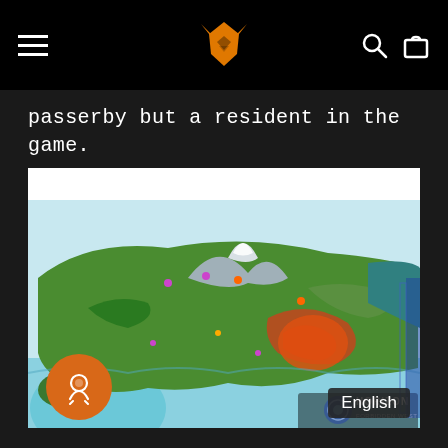[Navigation bar with hamburger menu, orange fox logo, search and cart icons]
passerby but a resident in the game.
[Figure (map): A physical game map from Horizon Forbidden West showing a colorful illustrated terrain with mountains, forests, coastlines, and marked locations. The Horizon Forbidden West logo is visible in the lower right corner.]
English